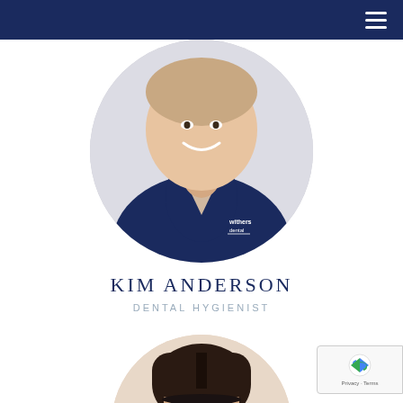[Figure (photo): Circular portrait photo of Kim Anderson, a dental hygienist wearing a navy blue Withers Dental scrub uniform, smiling at the camera against a light background.]
KIM ANDERSON
DENTAL HYGIENIST
[Figure (photo): Partial circular portrait photo showing the top of a person's head with dark hair pulled back, against a light background. Only the top portion is visible.]